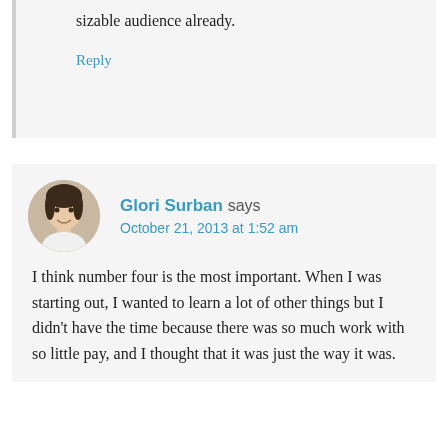sizable audience already.
Reply
Glori Surban says
October 21, 2013 at 1:52 am
I think number four is the most important. When I was starting out, I wanted to learn a lot of other things but I didn't have the time because there was so much work with so little pay, and I thought that it was just the way it was.